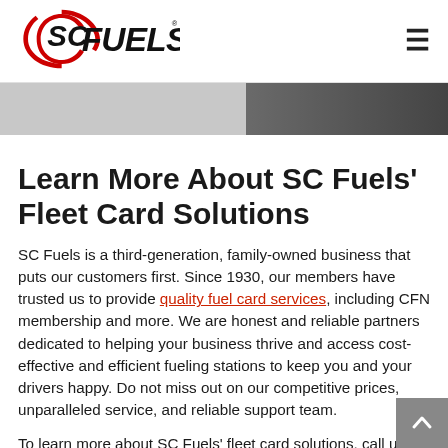SC FUELS logo and hamburger menu
[Figure (photo): Hero image strip showing a partial view of a vehicle/fueling scene, dark on the right side]
Learn More About SC Fuels' Fleet Card Solutions
SC Fuels is a third-generation, family-owned business that puts our customers first. Since 1930, our members have trusted us to provide quality fuel card services, including CFN membership and more. We are honest and reliable partners dedicated to helping your business thrive and access cost-effective and efficient fueling stations to keep you and your drivers happy. Do not miss out on our competitive prices, unparalleled service, and reliable support team.
To learn more about SC Fuels' fleet card solutions, call us at (888) SCFUELS (723-8357) ext. 6001 or fill out our online fleet card contact form on our application to be...